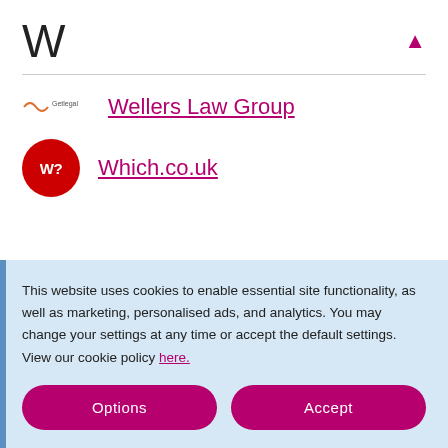W
Wellers Law Group
Which.co.uk
This website uses cookies to enable essential site functionality, as well as marketing, personalised ads, and analytics. You may change your settings at any time or accept the default settings. View our cookie policy here.